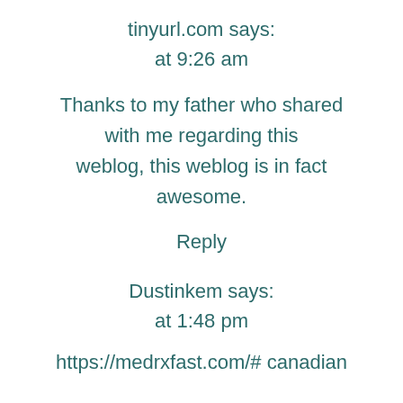tinyurl.com says:
at 9:26 am
Thanks to my father who shared with me regarding this weblog, this weblog is in fact awesome.
Reply
Dustinkem says:
at 1:48 pm
https://medrxfast.com/# canadian